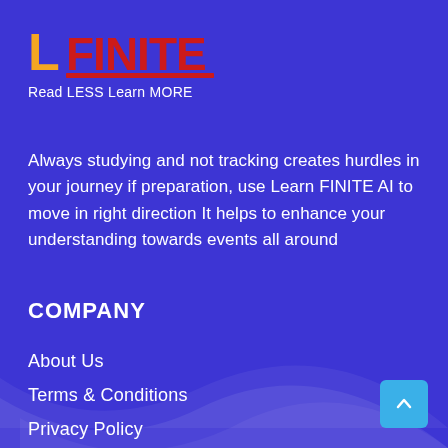[Figure (logo): LearnFINITE logo with orange L, red FINITE text and tagline 'Read LESS Learn MORE']
Always studying and not tracking creates hurdles in your journey if preparation, use Learn FINITE AI to move in right direction It helps to enhance your understanding towards events all around
COMPANY
About Us
Terms & Conditions
Privacy Policy
Contact Us